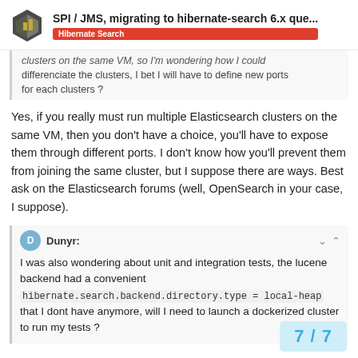SPI / JMS, migrating to hibernate-search 6.x que... | Hibernate Search
clusters on the same VM, so I'm wondering how I could differenciate the clusters, I bet I will have to define new ports for each clusters ?
Yes, if you really must run multiple Elasticsearch clusters on the same VM, then you don't have a choice, you'll have to expose them through different ports. I don't know how you'll prevent them from joining the same cluster, but I suppose there are ways. Best ask on the Elasticsearch forums (well, OpenSearch in your case, I suppose).
Dunyr: I was also wondering about unit and integration tests, the lucene backend had a convenient hibernate.search.backend.directory.type = local-heap that I dont have anymore, will I need to launch a dockerized cluster to run my tests ?
7 / 7